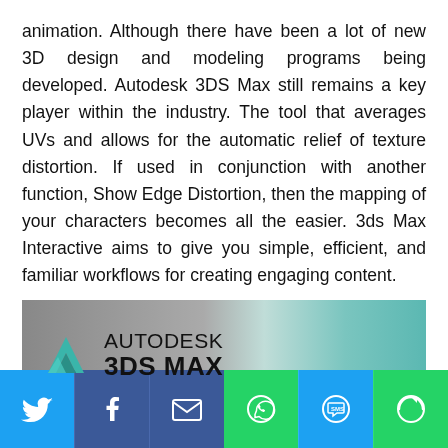animation. Although there have been a lot of new 3D design and modeling programs being developed. Autodesk 3DS Max still remains a key player within the industry. The tool that averages UVs and allows for the automatic relief of texture distortion. If used in conjunction with another function, Show Edge Distortion, then the mapping of your characters becomes all the easier. 3ds Max Interactive aims to give you simple, efficient, and familiar workflows for creating engaging content.
[Figure (logo): Autodesk 3DS Max logo banner with teal gradient background and geometric arrow logo]
[Figure (infographic): Social sharing bar with Twitter, Facebook, Email, WhatsApp, SMS, and More buttons]